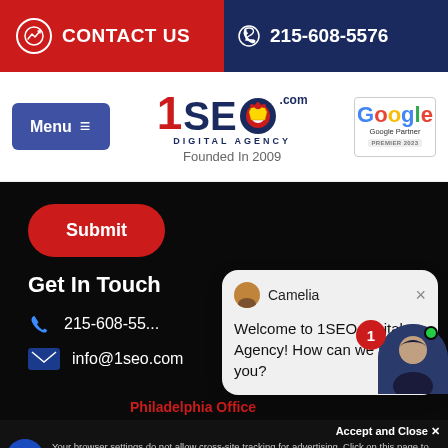CONTACT US | 215-608-5576
[Figure (logo): 1SEO Digital Agency logo with Google Partner badge and Menu button. Founded In 2009.]
Founded In 2009
[Figure (screenshot): Dark section with Submit button, Get In Touch heading, phone number 215-608-55..., info@1seo.com email, chat popup from Camelia saying Welcome to 1SEO Digital Agency! How can we help you?, chat badge with 1, agent avatar with green dot]
Submit
Get In Touch
215-608-55...
info@1seo.com
Camelia
Welcome to 1SEO Digital Agency! How can we help you?
Philadelphia Office
Accept and Close ✕
Your browser settings do not allow cross-site tracking for advertising. Click on this page to allow us to use cross-site tracking to tailor ads to you. Learn more or opt out of this AdRoll tracking by clicking here. This message only appears once.